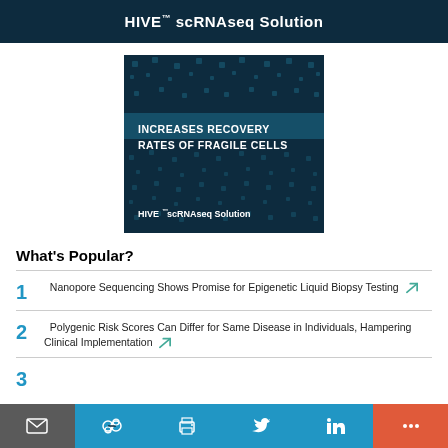[Figure (other): Top dark navy banner advertisement for HIVE scRNAseq Solution with bold white text]
[Figure (other): Square dark navy advertisement for HIVE scRNAseq Solution reading 'INCREASES RECOVERY RATES OF FRAGILE CELLS' with dot/diamond pattern background]
What's Popular?
1 Nanopore Sequencing Shows Promise for Epigenetic Liquid Biopsy Testing
2 Polygenic Risk Scores Can Differ for Same Disease in Individuals, Hampering Clinical Implementation
3 (partial, cut off)
[Figure (other): Bottom social sharing toolbar with email, link, print, Twitter, LinkedIn, and more buttons]